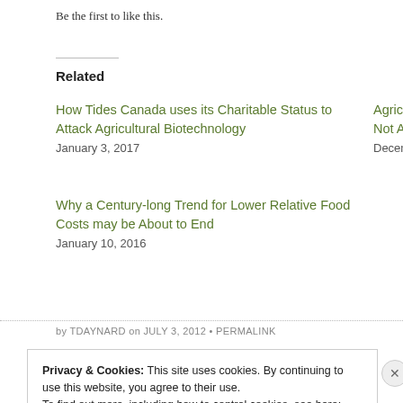Be the first to like this.
Related
How Tides Canada uses its Charitable Status to Attack Agricultural Biotechnology
January 3, 2017
Agricultural Anti-GM... Not About the Techno...
December 29, 2015
Why a Century-long Trend for Lower Relative Food Costs may be About to End
January 10, 2016
by TDAYNARD on JULY 3, 2012 • PERMALINK
Privacy & Cookies: This site uses cookies. By continuing to use this website, you agree to their use.
To find out more, including how to control cookies, see here: Cookie Policy
Close and accept